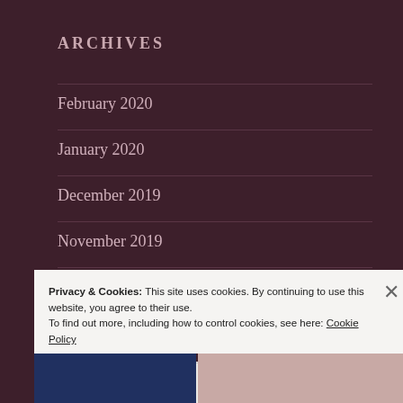ARCHIVES
February 2020
January 2020
December 2019
November 2019
September 2019
July 2019
Privacy & Cookies: This site uses cookies. By continuing to use this website, you agree to their use.
To find out more, including how to control cookies, see here: Cookie Policy
Close and accept